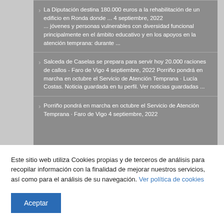La Diputación destina 180.000 euros a la rehabilitación de un edificio en Ronda donde ... 4 septiembre, 2022 ... jóvenes y personas vulnerables con diversidad funcional principalmente en el ámbito educativo y en los apoyos en la atención temprana: durante ...
Salceda de Caselas se prepara para servir hoy 20.000 raciones de callos - Faro de Vigo 4 septiembre, 2022 Porriño pondrá en marcha en octubre el Servicio de Atención Temprana · Lucía Costas. Noticia guardada en tu perfil. Ver noticias guardadas ...
Porriño pondrá en marcha en octubre el Servicio de Atención Temprana · Faro de Vigo 4 septiembre, 2022
Este sitio web utiliza Cookies propias y de terceros de análisis para recopilar información con la finalidad de mejorar nuestros servicios, así como para el análisis de su navegación. Ver política de cookies